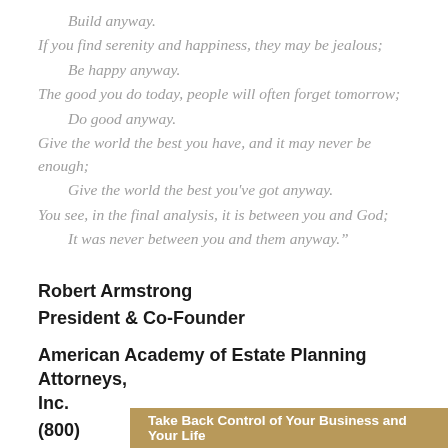Build anyway.
If you find serenity and happiness, they may be jealous;
    Be happy anyway.
The good you do today, people will often forget tomorrow;
    Do good anyway.
Give the world the best you have, and it may never be enough;
    Give the world the best you've got anyway.
You see, in the final analysis, it is between you and God;
    It was never between you and them anyway."
Robert Armstrong
President & Co-Founder
American Academy of Estate Planning Attorneys, Inc.
(800)
Take Back Control of Your Business and Your Life